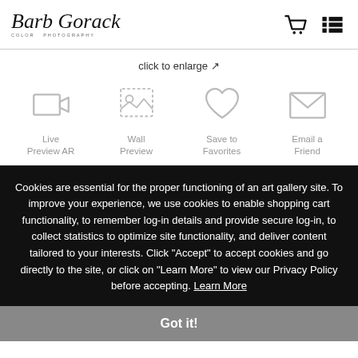Barb Gorack Color Photography
click to enlarge ↗
[Figure (infographic): Four action icons: Live Preview AR (video camera icon), Wall Preview (image frame icon), Save to Favorites (heart icon), Email a Friend (envelope icon)]
Cookies are essential for the proper functioning of an art gallery site. To improve your experience, we use cookies to enable shopping cart functionality, to remember log-in details and provide secure log-in, to collect statistics to optimize site functionality, and deliver content tailored to your interests. Click "Accept" to accept cookies and go directly to the site, or click on "Learn More" to view our Privacy Policy before accepting. Learn More
Got it!